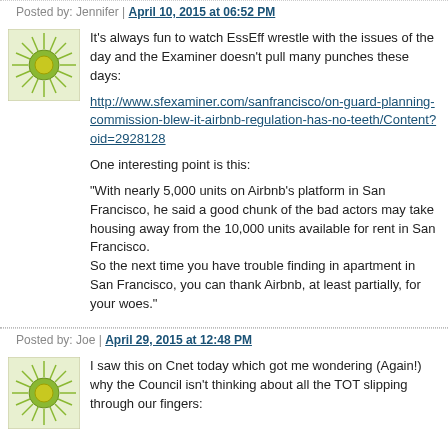Posted by: Jennifer | April 10, 2015 at 06:52 PM
[Figure (illustration): Green sunburst avatar icon with yellow-green center circle]
It's always fun to watch EssEff wrestle with the issues of the day and the Examiner doesn't pull many punches these days:
http://www.sfexaminer.com/sanfrancisco/on-guard-planning-commission-blew-it-airbnb-regulation-has-no-teeth/Content?oid=2928128
One interesting point is this:
"With nearly 5,000 units on Airbnb's platform in San Francisco, he said a good chunk of the bad actors may take housing away from the 10,000 units available for rent in San Francisco.
So the next time you have trouble finding in apartment in San Francisco, you can thank Airbnb, at least partially, for your woes."
Posted by: Joe | April 29, 2015 at 12:48 PM
[Figure (illustration): Green sunburst avatar icon with yellow-green center circle]
I saw this on Cnet today which got me wondering (Again!) why the Council isn't thinking about all the TOT slipping through our fingers: